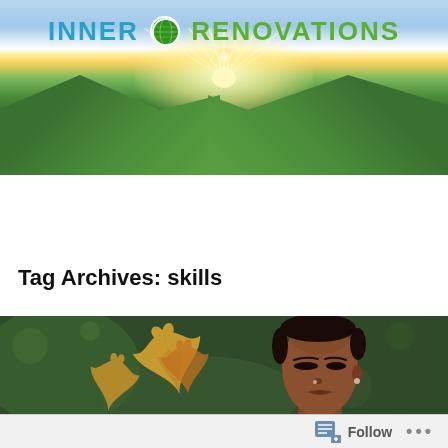[Figure (illustration): Inner Renovations website header with landscape photo showing green hills, sunrise/sunburst glow, and the 'Inner Renovations' logo with a globe icon]
Inner Renovations Toolbox | Blog
Tag Archives: skills
[Figure (photo): A Black woman with eyes closed holding an autumn maple leaf in front of her face, bokeh green background]
Follow